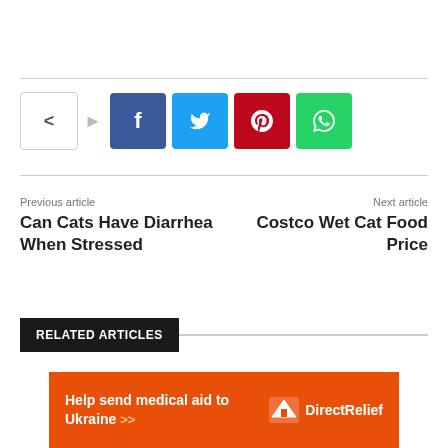[Figure (infographic): Social share buttons row: share icon, Facebook (blue), Twitter (cyan), Pinterest (red), WhatsApp (green)]
Previous article
Can Cats Have Diarrhea When Stressed
Next article
Costco Wet Cat Food Price
RELATED ARTICLES
[Figure (infographic): Orange advertisement banner: 'Help send medical aid to Ukraine >>' with Direct Relief logo on the right]